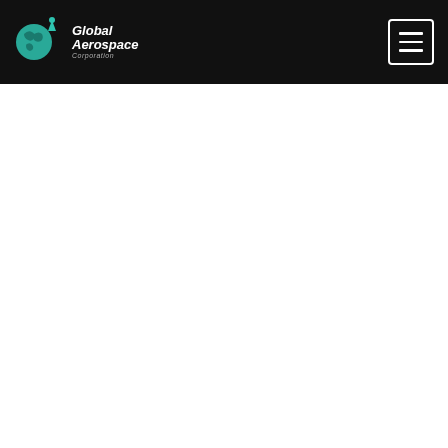Global Aerospace Corporation
GLOBAL AEROSPACE